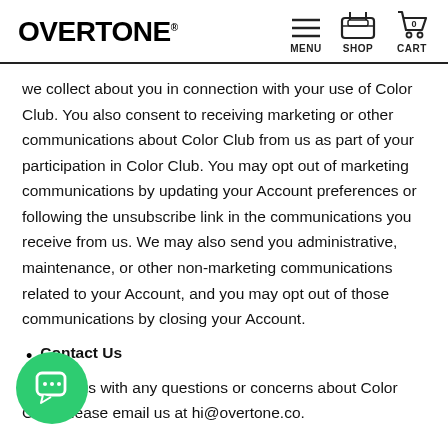OVERTONE® — MENU | SHOP | CART
we collect about you in connection with your use of Color Club. You also consent to receiving marketing or other communications about Color Club from us as part of your participation in Color Club. You may opt out of marketing communications by updating your Account preferences or following the unsubscribe link in the communications you receive from us. We may also send you administrative, maintenance, or other non-marketing communications related to your Account, and you may opt out of those communications by closing your Account.
Contact Us
tact us with any questions or concerns about Color Club, please email us at hi@overtone.co.